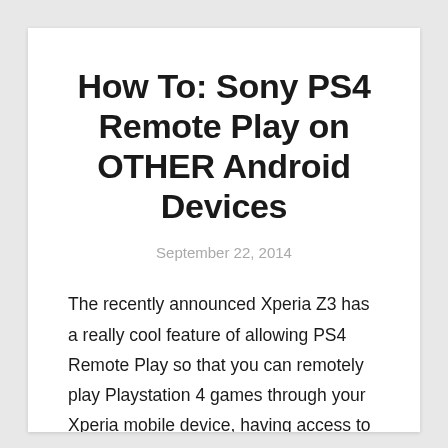How To: Sony PS4 Remote Play on OTHER Android Devices
September 22, 2014
The recently announced Xperia Z3 has a really cool feature of allowing PS4 Remote Play so that you can remotely play Playstation 4 games through your Xperia mobile device, having access to your